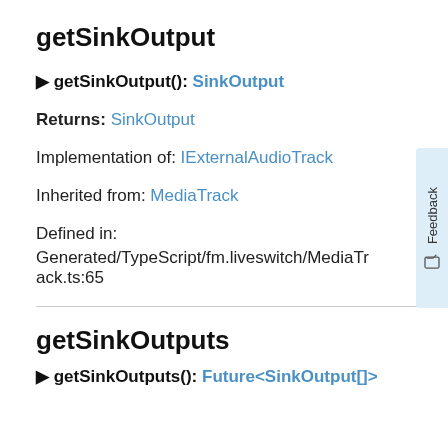getSinkOutput
▶ getSinkOutput(): SinkOutput
Returns: SinkOutput
Implementation of: IExternalAudioTrack
Inherited from: MediaTrack
Defined in: Generated/TypeScript/fm.liveswitch/MediaTrack.ts:65
getSinkOutputs
▶ getSinkOutputs(): Future<SinkOutput[]>